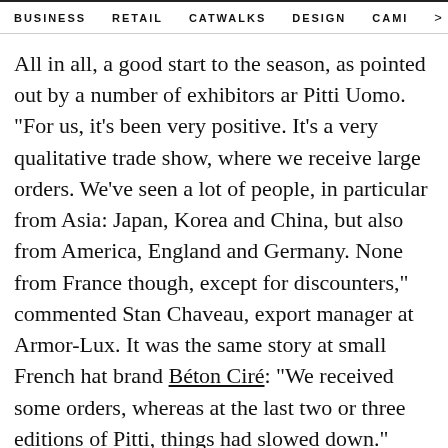BUSINESS   RETAIL   CATWALKS   DESIGN   CAMI   >
All in all, a good start to the season, as pointed out by a number of exhibitors ar Pitti Uomo. "For us, it's been very positive. It's a very qualitative trade show, where we receive large orders. We've seen a lot of people, in particular from Asia: Japan, Korea and China, but also from America, England and Germany. None from France though, except for discounters," commented Stan Chaveau, export manager at Armor-Lux. It was the same story at small French hat brand Béton Ciré: "We received some orders, whereas at the last two or three editions of Pitti, things had slowed down."
Overall, however, the Florentine trade show's report card seems a little more mixed. Its organisers announced a level of attendance in line with previous seasons: a total